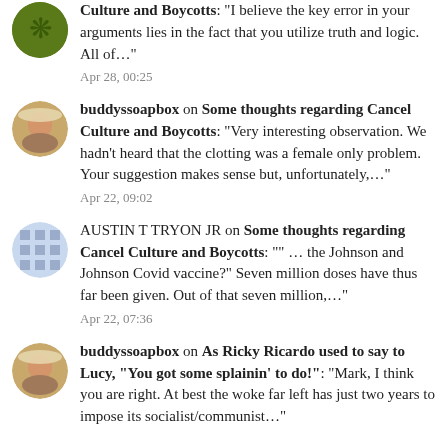Culture and Boycotts: “I believe the key error in your arguments lies in the fact that you utilize truth and logic. All of…” Apr 28, 00:25
buddyssoapbox on Some thoughts regarding Cancel Culture and Boycotts: “Very interesting observation. We hadn’t heard that the clotting was a female only problem. Your suggestion makes sense but, unfortunately,…” Apr 22, 09:02
AUSTIN T TRYON JR on Some thoughts regarding Cancel Culture and Boycotts: “” … the Johnson and Johnson Covid vaccine?” Seven million doses have thus far been given. Out of that seven million,…” Apr 22, 07:36
buddyssoapbox on As Ricky Ricardo used to say to Lucy, “You got some splainin’ to do!”: “Mark, I think you are right. At best the woke far left has just two years to impose its socialist/communist…”